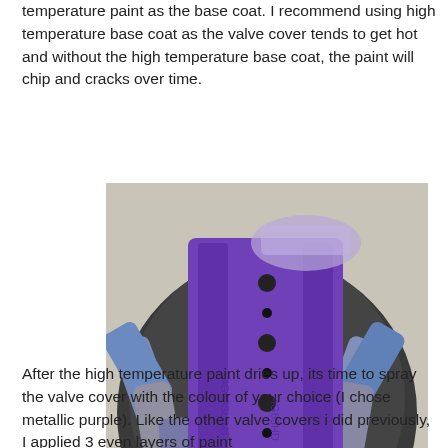temperature paint as the base coat. I recommend using high temperature base coat as the valve cover tends to get hot and without the high temperature base coat, the paint will chip and cracks over time.
[Figure (photo): A purple painted valve cover lying in a round dark bucket filled with metallic spray paint cans. The valve cover is painted in metallic purple with visible text embossed on it.]
After the high temperature paint dries up, its time to spray the valve cover with the colour of your choice (I chose metallic purple). Like the other valve covers i did previously, I applied 3 even layers of paint